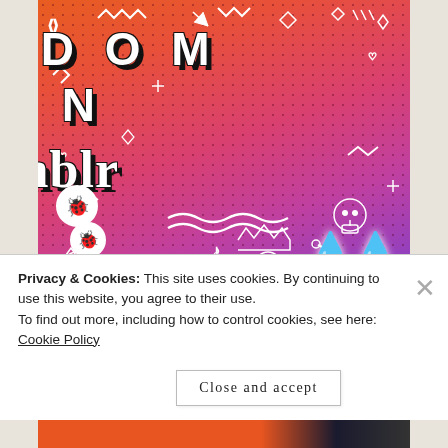[Figure (illustration): Tumblr 'Fandom on Tumblr' promotional book cover image with colorful gradient background (orange to purple), large bold text 'FANDOM ON tumblr', white doodle decorations, ladybug stickers, leaf stickers, blue flame sticker, flower doodle, skull doodle, and cat face doodle.]
Privacy & Cookies: This site uses cookies. By continuing to use this website, you agree to their use.
To find out more, including how to control cookies, see here: Cookie Policy
Close and accept